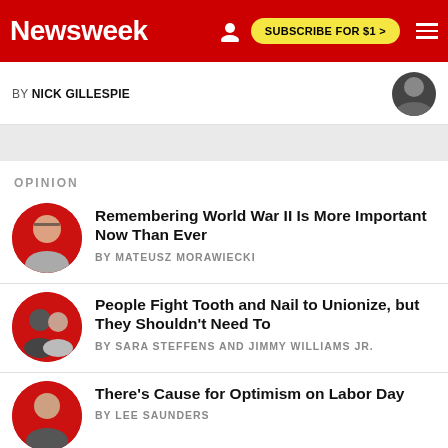Newsweek | SUBSCRIBE FOR $1 >
BY NICK GILLESPIE
OPINION
Remembering World War II Is More Important Now Than Ever
BY MATEUSZ MORAWIECKI
People Fight Tooth and Nail to Unionize, but They Shouldn't Need To
BY SARA STEFFENS AND JIMMY WILLIAMS JR.
There's Cause for Optimism on Labor Day
BY LEE SAUNDERS